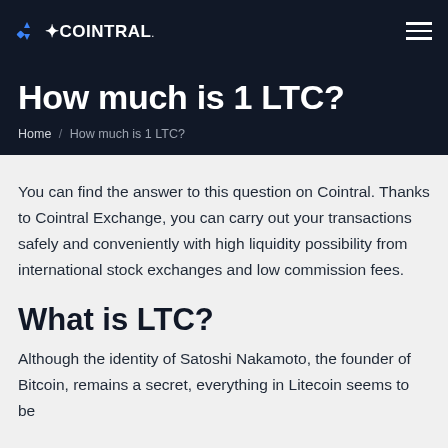COINTRAL
How much is 1 LTC?
Home / How much is 1 LTC?
You can find the answer to this question on Cointral. Thanks to Cointral Exchange, you can carry out your transactions safely and conveniently with high liquidity possibility from international stock exchanges and low commission fees.
What is LTC?
Although the identity of Satoshi Nakamoto, the founder of Bitcoin, remains a secret, everything in Litecoin seems to be